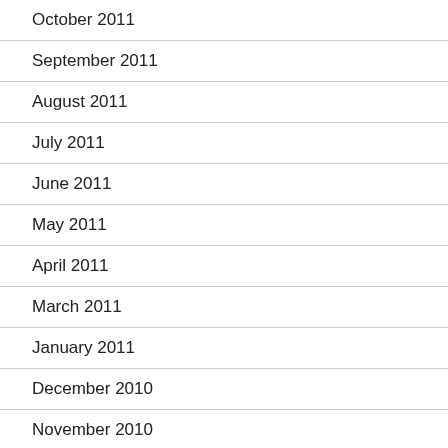October 2011
September 2011
August 2011
July 2011
June 2011
May 2011
April 2011
March 2011
January 2011
December 2010
November 2010